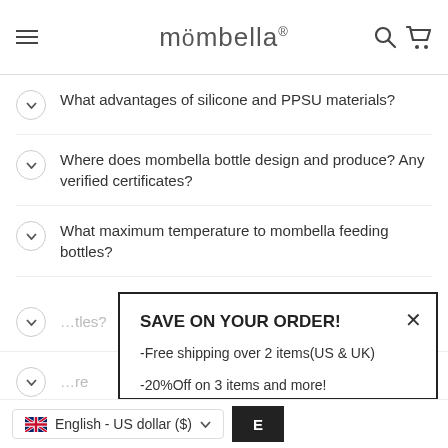mömbella®
What advantages of silicone and PPSU materials?
Where does mombella bottle design and produce? Any verified certificates?
What maximum temperature to mombella feeding bottles?
SAVE ON YOUR ORDER!
-Free shipping over 2 items(US & UK)
-20%Off on 3 items and more!
Apply the 20%off code: CT6P at checkout page
English - US dollar ($)